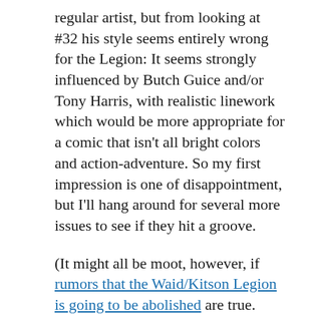regular artist, but from looking at #32 his style seems entirely wrong for the Legion: It seems strongly influenced by Butch Guice and/or Tony Harris, with realistic linework which would be more appropriate for a comic that isn't all bright colors and action-adventure. So my first impression is one of disappointment, but I'll hang around for several more issues to see if they hit a groove.
(It might all be moot, however, if rumors that the Waid/Kitson Legion is going to be abolished are true. Sigh.)
I somehow missed the first few Annihilation: Conquest mini-series
[Figure (other): Image placeholder labeled Starlord_1.jpg]